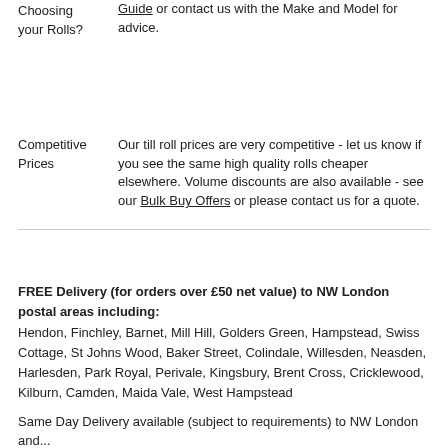Choosing your Rolls? Guide or contact us with the Make and Model for advice.
Competitive Prices — Our till roll prices are very competitive - let us know if you see the same high quality rolls cheaper elsewhere. Volume discounts are also available - see our Bulk Buy Offers or please contact us for a quote.
FREE Delivery (for orders over £50 net value) to NW London postal areas including: Hendon, Finchley, Barnet, Mill Hill, Golders Green, Hampstead, Swiss Cottage, St Johns Wood, Baker Street, Colindale, Willesden, Neasden, Harlesden, Park Royal, Perivale, Kingsbury, Brent Cross, Cricklewood, Kilburn, Camden, Maida Vale, West Hampstead
Same Day Delivery available (subject to requirements) to NW London and...